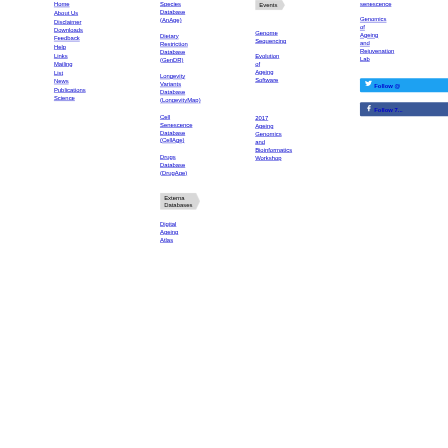Home
About Us
Disclaimer
Downloads
Feedback
Help
Links
Mailing List
News
Publications
Science
Species Database (AnAge)
Dietary Restriction Database (GenDR)
Longevity Variants Database (LongevityMap)
Cell Senescence Database (CellAge)
Drugs Database (DrugAge)
External Databases
Digital Ageing Atlas
Events
Genome Sequencing
Evolution of Ageing Software
2017 Ageing Genomics and Bioinformatics Workshop
senescence
Genomics of Ageing and Rejuvenation Lab
Follow @
Follow 7...